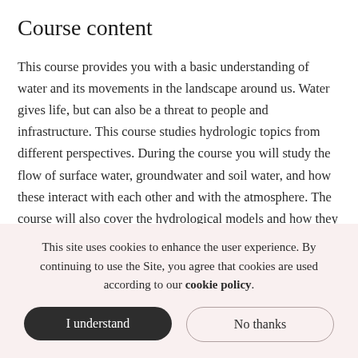Course content
This course provides you with a basic understanding of water and its movements in the landscape around us. Water gives life, but can also be a threat to people and infrastructure. This course studies hydrologic topics from different perspectives. During the course you will study the flow of surface water, groundwater and soil water, and how these interact with each other and with the atmosphere. The course will also cover the hydrological models and how they can be applied to solve everyday problems. Socially important applications
This site uses cookies to enhance the user experience. By continuing to use the Site, you agree that cookies are used according to our cookie policy.
I understand
No thanks